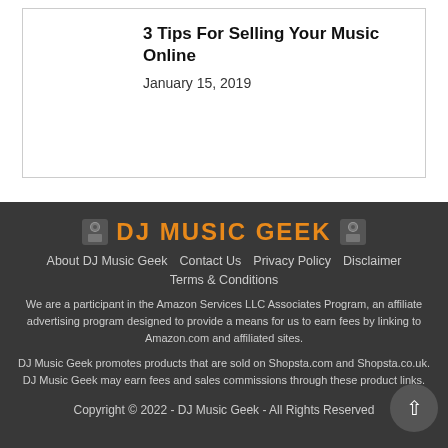3 Tips For Selling Your Music Online
January 15, 2019
[Figure (logo): DJ Music Geek logo with speaker icons and orange bold text]
About DJ Music Geek   Contact Us   Privacy Policy   Disclaimer
Terms & Conditions
We are a participant in the Amazon Services LLC Associates Program, an affiliate advertising program designed to provide a means for us to earn fees by linking to Amazon.com and affiliated sites.
DJ Music Geek promotes products that are sold on Shopsta.com and Shopsta.co.uk. DJ Music Geek may earn fees and sales commissions through these product links.
Copyright © 2022 - DJ Music Geek - All Rights Reserved